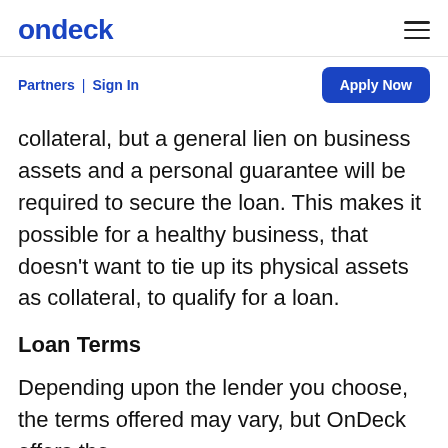ondeck
Partners | Sign In
Apply Now
collateral, but a general lien on business assets and a personal guarantee will be required to secure the loan. This makes it possible for a healthy business, that doesn't want to tie up its physical assets as collateral, to qualify for a loan.
Loan Terms
Depending upon the lender you choose, the terms offered may vary, but OnDeck offers the